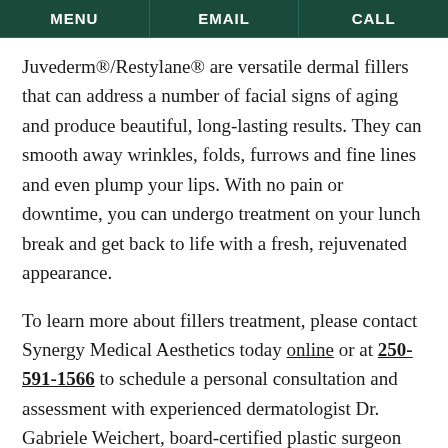MENU | EMAIL | CALL
Juvederm®/Restylane® are versatile dermal fillers that can address a number of facial signs of aging and produce beautiful, long-lasting results. They can smooth away wrinkles, folds, furrows and fine lines and even plump your lips. With no pain or downtime, you can undergo treatment on your lunch break and get back to life with a fresh, rejuvenated appearance.
To learn more about fillers treatment, please contact Synergy Medical Aesthetics today online or at 250-591-1566 to schedule a personal consultation and assessment with experienced dermatologist Dr. Gabriele Weichert, board-certified plastic surgeon Dr. Philip Barnsley, or our trained and experienced nurse